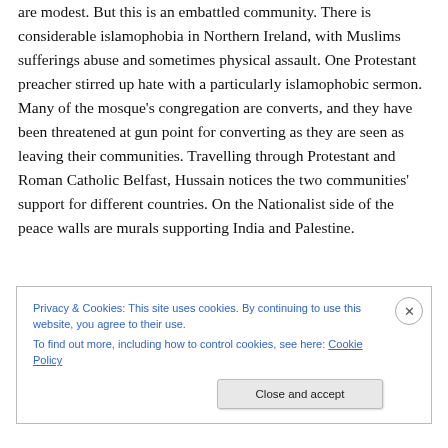are modest. But this is an embattled community. There is considerable islamophobia in Northern Ireland, with Muslims sufferings abuse and sometimes physical assault. One Protestant preacher stirred up hate with a particularly islamophobic sermon. Many of the mosque's congregation are converts, and they have been threatened at gun point for converting as they are seen as leaving their communities. Travelling through Protestant and Roman Catholic Belfast, Hussain notices the two communities' support for different countries. On the Nationalist side of the peace walls are murals supporting India and Palestine.
Privacy & Cookies: This site uses cookies. By continuing to use this website, you agree to their use.
To find out more, including how to control cookies, see here: Cookie Policy